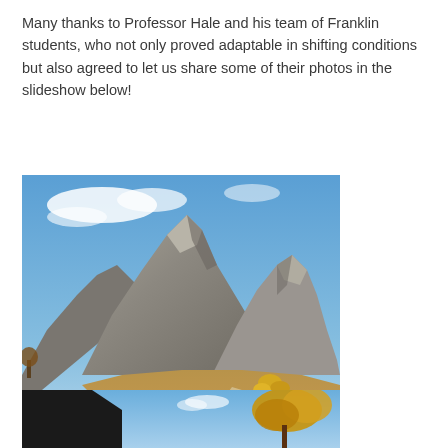Many thanks to Professor Hale and his team of Franklin students, who not only proved adaptable in shifting conditions but also agreed to let us share some of their photos in the slideshow below!
[Figure (photo): Mountain landscape with rocky peaks, golden-brown grassy slopes, yellow shrubs, and a narrow dirt path leading toward the mountains under a blue sky with clouds.]
[Figure (photo): Partial view of a second mountain scene with a dark structure on the left, blue sky, and autumn yellow foliage on the right.]